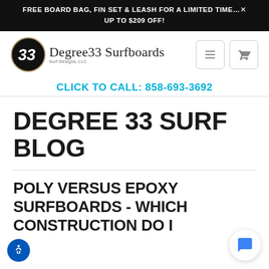FREE BOARD BAG, FIN SET & LEASH FOR A LIMITED TIME…✕ UP TO $209 OFF!
[Figure (logo): Degree 33 Surfboards logo with circular emblem and cursive script text]
CLICK TO CALL: 858-693-3692
DEGREE 33 SURF BLOG
POLY VERSUS EPOXY SURFBOARDS - WHICH CONSTRUCTION DO I